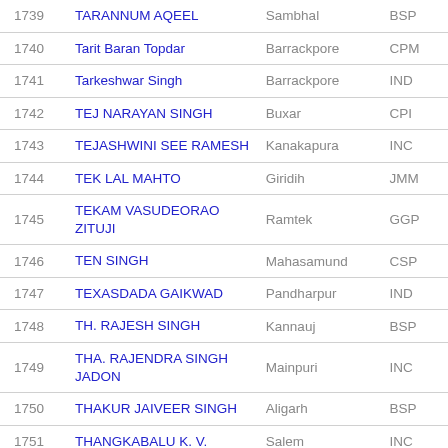| # | Name | Constituency | Party |
| --- | --- | --- | --- |
| 1739 | TARANNUM AQEEL | Sambhal | BSP |
| 1740 | Tarit Baran Topdar | Barrackpore | CPM |
| 1741 | Tarkeshwar Singh | Barrackpore | IND |
| 1742 | TEJ NARAYAN SINGH | Buxar | CPI |
| 1743 | TEJASHWINI SEE RAMESH | Kanakapura | INC |
| 1744 | TEK LAL MAHTO | Giridih | JMM |
| 1745 | TEKAM VASUDEORAO ZITUJI | Ramtek | GGP |
| 1746 | TEN SINGH | Mahasamund | CSP |
| 1747 | TEXASDADA GAIKWAD | Pandharpur | IND |
| 1748 | TH. RAJESH SINGH | Kannauj | BSP |
| 1749 | THA. RAJENDRA SINGH JADON | Mainpuri | INC |
| 1750 | THAKUR JAIVEER SINGH | Aligarh | BSP |
| 1751 | THANGKABALU K. V. | Salem | INC |